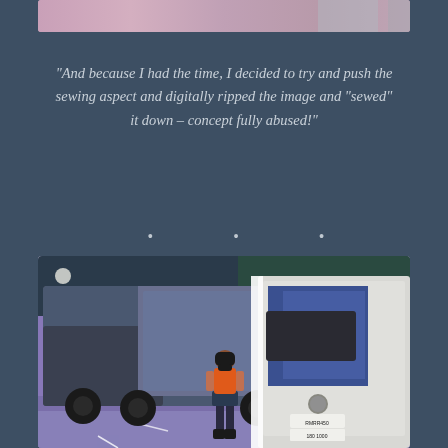[Figure (illustration): Top cropped image showing a pink/mauve colored illustration, partially visible at top of page]
“And because I had the time, I decided to try and push the sewing aspect and digitally ripped the image and “sewed” it down – concept fully abused!”
[Figure (illustration): Digital illustration of large trucks/lorries in blue, grey and white colors with a person standing between them wearing an orange vest and dark shorts, purple and grey background suggesting night scene]